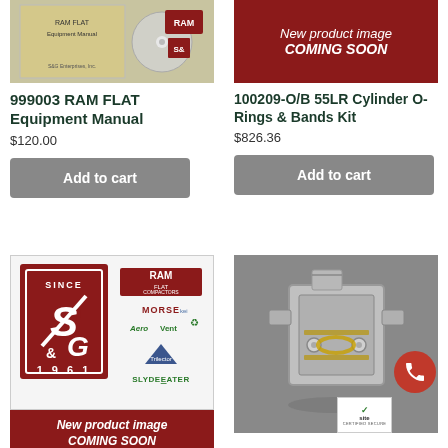[Figure (photo): CD/disc product image for RAM Flat Equipment Manual]
[Figure (infographic): Dark red banner with italic text: New product image COMING SOON]
999003 RAM FLAT Equipment Manual
$120.00
Add to cart
100209-O/B 55LR Cylinder O-Rings & Bands Kit
$826.36
Add to cart
[Figure (logo): S&G Enterprises Since 1961 logo with RAM Flat Compactors, Morse, AeroVent, Trilector, SlydeEater brand logos]
[Figure (photo): 55LR Cylinder O-Rings & Bands Kit - metallic mechanical component photo on grey background]